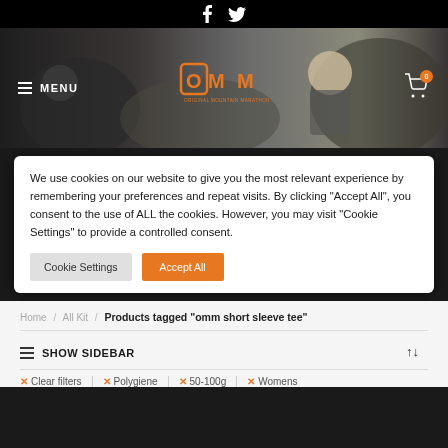Social icons: Facebook, Twitter
[Figure (screenshot): OMM Original Mountain Marathon website hero banner with navigation menu, OMM logo in orange, and shopping cart icon with badge showing 0]
We use cookies on our website to give you the most relevant experience by remembering your preferences and repeat visits. By clicking "Accept All", you consent to the use of ALL the cookies. However, you may visit "Cookie Settings" to provide a controlled consent.
Cookie Settings | Accept All
Home / All Kit / Products tagged “omm short sleeve tee”
SHOW SIDEBAR
✕ Clear filters  ✕ Polygiene  ✕ 50-100g  ✕ Womens